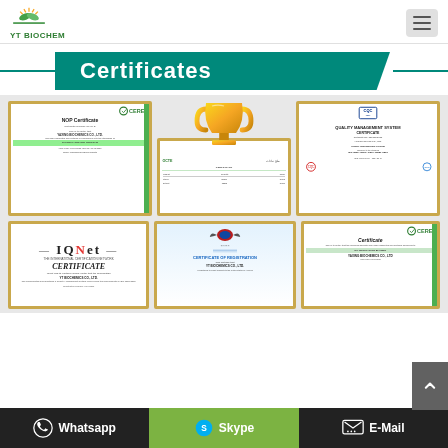[Figure (logo): YT BIOCHEM logo with green leaf/plant icon above company name]
Certificates
[Figure (illustration): Collection of 6 framed certificates displayed in a 2-row grid with a golden trophy in the center top: NOP Certificate (CERES), an export/CITES certificate, Quality Management System Certificate (CQC), IQNet Certificate, Eagle emblem certificate (FDA/USDA style), and another CERES Certificate]
Whatsapp
Skype
E-Mail